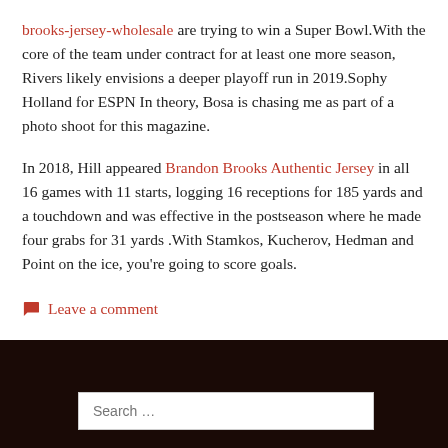brooks-jersey-wholesale are trying to win a Super Bowl.With the core of the team under contract for at least one more season, Rivers likely envisions a deeper playoff run in 2019.Sophy Holland for ESPN In theory, Bosa is chasing me as part of a photo shoot for this magazine.
In 2018, Hill appeared Brandon Brooks Authentic Jersey in all 16 games with 11 starts, logging 16 receptions for 185 yards and a touchdown and was effective in the postseason where he made four grabs for 31 yards .With Stamkos, Kucherov, Hedman and Point on the ice, you're going to score goals.
Leave a comment
Search ...